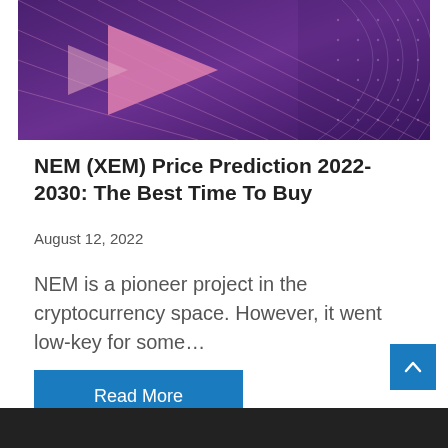[Figure (photo): Abstract purple/violet background image with geometric triangular arrow shapes and dotted arc pattern, used as article hero image]
NEM (XEM) Price Prediction 2022-2030: The Best Time To Buy
August 12, 2022
NEM is a pioneer project in the cryptocurrency space. However, it went low-key for some…
Read More